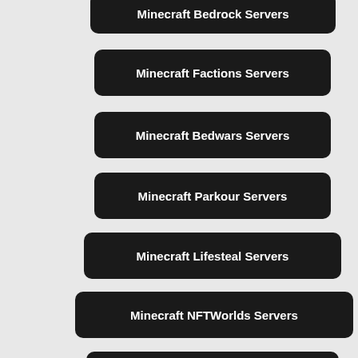Minecraft Bedrock Servers
Minecraft Factions Servers
Minecraft Bedwars Servers
Minecraft Parkour Servers
Minecraft Lifesteal Servers
Minecraft NFTWorlds Servers
Minecraft CityBuild Servers
Minecraft PvP Servers
Minecraft P2E Servers
Minecraft Creative Servers
Minecraft Skywars Servers